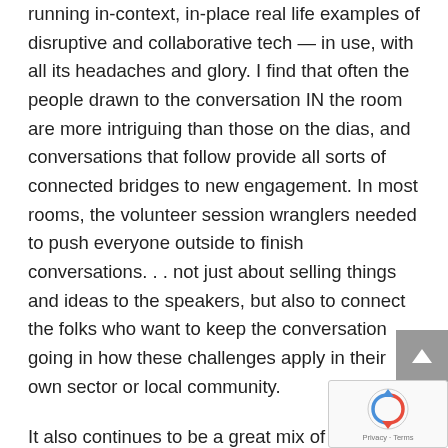running in-context, in-place real life examples of disruptive and collaborative tech — in use, with all its headaches and glory.  I find that often the people drawn to the conversation IN the room are more intriguing than those on the dias, and conversations that follow provide all sorts of connected bridges to new engagement.  In most rooms, the volunteer session wranglers needed to push everyone outside to finish conversations. . . not just about selling things and ideas to the speakers, but also to connect the folks who want to keep the conversation going in how these challenges apply in their own sector or local community.
It also continues to be a great mix of voices and use cases.  This year, northern European languages abounded as people flew great distances to be in these conversations, with their own stories and questions.  I met many executives and creative